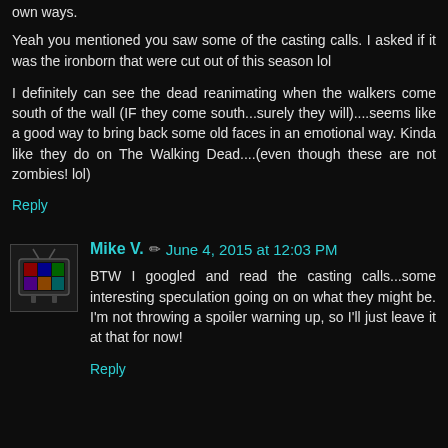own ways.
Yeah you mentioned you saw some of the casting calls. I asked if it was the ironborn that were cut out of this season lol
I definitely can see the dead reanimating when the walkers come south of the wall (IF they come south...surely they will)....seems like a good way to bring back some old faces in an emotional way. Kinda like they do on The Walking Dead....(even though these are not zombies! lol)
Reply
Mike V. ✏ June 4, 2015 at 12:03 PM
BTW I googled and read the casting calls...some interesting speculation going on on what they might be. I'm not throwing a spoiler warning up, so I'll just leave it at that for now!
Reply